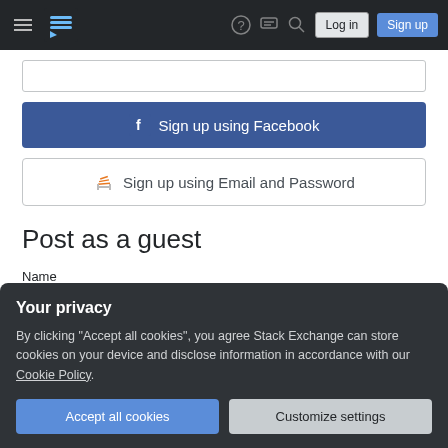Stack Exchange navigation bar with hamburger menu, logo, help, chat, search icons, Log in and Sign up buttons
[Figure (screenshot): Top input field (partially visible, likely for username or password entry)]
[Figure (screenshot): Sign up using Facebook button (blue background with Facebook logo icon)]
[Figure (screenshot): Sign up using Email and Password button (white background with Stack Overflow logo icon)]
Post as a guest
Name
[Figure (screenshot): Name input text field (empty)]
Email
Required, but never shown
Your privacy
By clicking “Accept all cookies”, you agree Stack Exchange can store cookies on your device and disclose information in accordance with our Cookie Policy.
[Figure (screenshot): Accept all cookies button (blue) and Customize settings button (light gray)]